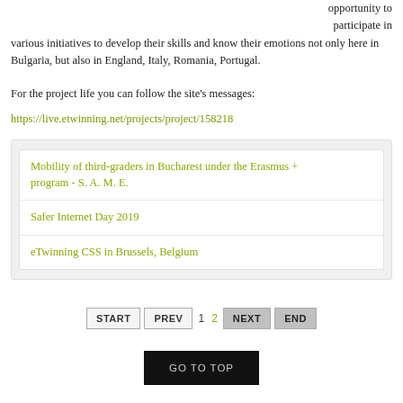opportunity to participate in various initiatives to develop their skills and know their emotions not only here in Bulgaria, but also in England, Italy, Romania, Portugal.
For the project life you can follow the site's messages:
https://live.etwinning.net/projects/project/158218
Mobility of third-graders in Bucharest under the Erasmus + program - S. A. M. E.
Safer Internet Day 2019
eTwinning CSS in Brussels, Belgium
START  PREV  1  2  NEXT  END
GO TO TOP